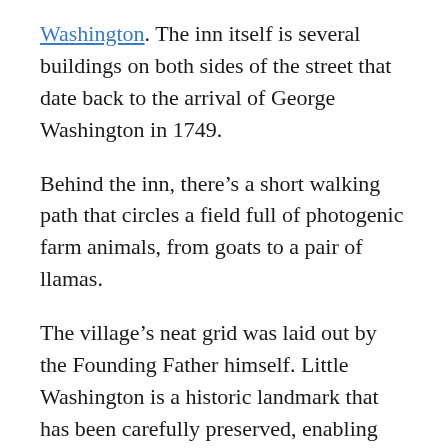Washington. The inn itself is several buildings on both sides of the street that date back to the arrival of George Washington in 1749.
Behind the inn, there's a short walking path that circles a field full of photogenic farm animals, from goats to a pair of llamas.
The village's neat grid was laid out by the Founding Father himself. Little Washington is a historic landmark that has been carefully preserved, enabling you to imagine yourself in the George Washington's day.
One of the attractions of this DC day trip is the drive from the city. After you escape I-66, the